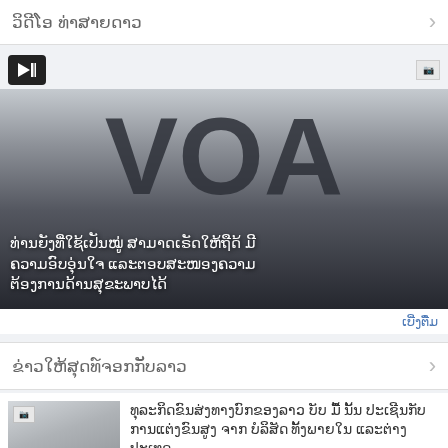ວິດີໂອ ທ່າສາຍດາວ
[Figure (screenshot): VOA video banner with large VOA logo on gradient dark background with Lao text overlay. Text reads: ທ່ານຍັງທີ່ໃຊ້ເປັນໝູ່ ສາມາດເຣັດໃໝ້ຖືດ້ ມີຄວາມອົບອຸ່ນໃຈ ແລະຕອບສະໜອງຄວາມຕ້ອງການດ້ານສຸຂະພາບໄດ້]
ເບີ່ງຕື່ມ
ຂ່າວໃຫ້ສຸດທ໌ຈອກກັບລາວ
[Figure (screenshot): VOA logo thumbnail image for news article]
ທຸລະກິດຂົນສ່ງທາງບົກຂອງລາວ ບັບ ມື້ ນັ້ນ ປະເຊີນກັບການແຕ່ງຂົນສູງ ຈາກບໍລິສັດ ທັ້ງພາຍໃນ ແລະຕ່າງປະເທດ